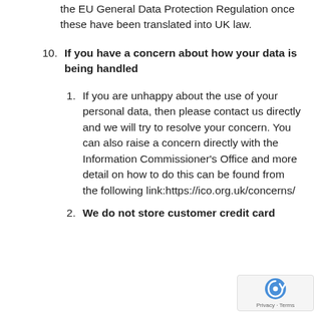the EU General Data Protection Regulation once these have been translated into UK law.
10. If you have a concern about how your data is being handled
1. If you are unhappy about the use of your personal data, then please contact us directly and we will try to resolve your concern. You can also raise a concern directly with the Information Commissioner's Office and more detail on how to do this can be found from the following link:https://ico.org.uk/concerns/
2. We do not store customer credit card details